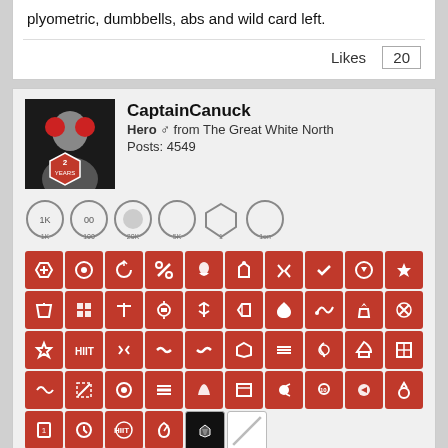plyometric, dumbbells, abs and wild card left.
Likes  20
CaptainCanuck
Hero ♂ from The Great White North
Posts: 4549
[Figure (infographic): Row of grey achievement badge icons with numbers below them]
[Figure (infographic): Three rows of red square icons with white symbols representing fitness achievements/badges, plus two incomplete icons at end]
January 29, 2022, 04:23 AM
#279
Another decent day for steps, with another 13,000. Pretty much the same thing happened to as yesterday, missed a bus that comes every thirty minutes by about 60 seconds, so I just filled the time with walking back and forth.
In the evening I did Pecs (level I, EC), Paladin (level I, EC), Home Upperbody Tone, Cardio & Coordination (level I, EC) and Freedom (level I, EC). I added the first two workouts at last